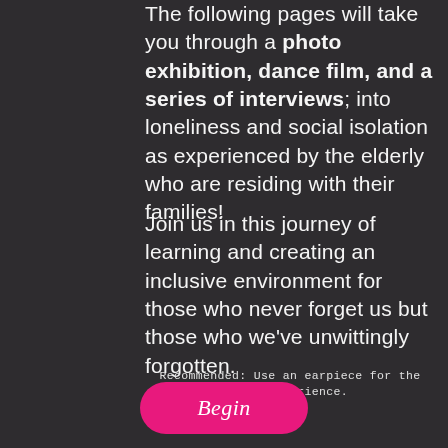The following pages will take you through a photo exhibition, dance film, and a series of interviews; into loneliness and social isolation as experienced by the elderly who are residing with their families!
Join us in this journey of learning and creating an inclusive environment for those who never forget us but those who we've unwittingly forgotten.
Recommended: Use an earpiece for the best experience.
[Figure (other): A pink rounded button labeled 'Begin' in italic white text]